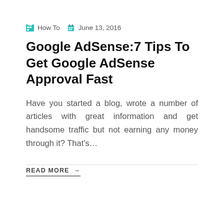How To   June 13, 2016
Google AdSense:7 Tips To Get Google AdSense Approval Fast
Have you started a blog, wrote a number of articles with great information and get handsome traffic but not earning any money through it? That's…
READ MORE →